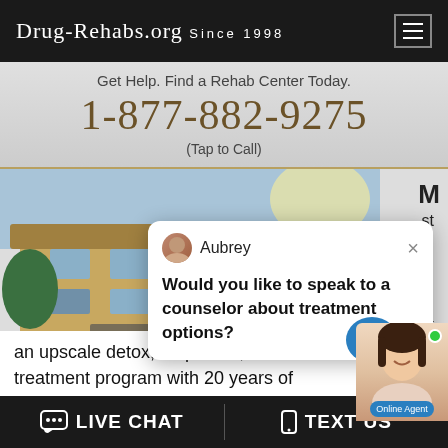Drug-Rehabs.org Since 1998
Get Help. Find a Rehab Center Today.
1-877-882-9275
(Tap to Call)
[Figure (screenshot): Exterior photo of a rehab center building with landscaping, overlaid with a chat popup from 'Aubrey' asking 'Would you like to speak to a counselor about treatment options?' and a live chat agent interface in the corner.]
an upscale detox, outpatient, and resid... treatment program with 20 years of experience in handling both substance...
LIVE CHAT   TEXT US